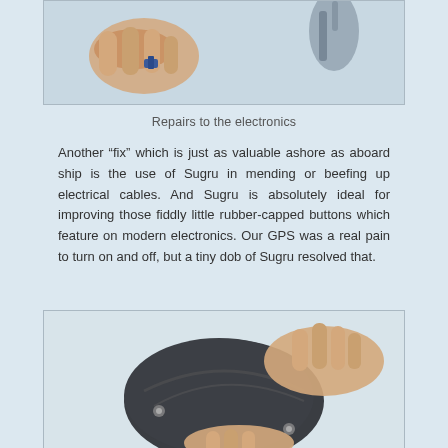[Figure (photo): Close-up photo of hands working on electronic components/repairs]
Repairs to the electronics
Another “fix” which is just as valuable ashore as aboard ship is the use of Sugru in mending or beefing up electrical cables. And Sugru is absolutely ideal for improving those fiddly little rubber-capped buttons which feature on modern electronics. Our GPS was a real pain to turn on and off, but a tiny dob of Sugru resolved that.
[Figure (photo): Close-up photo of hands holding and pressing on a dark rubber GPS or electronic device]